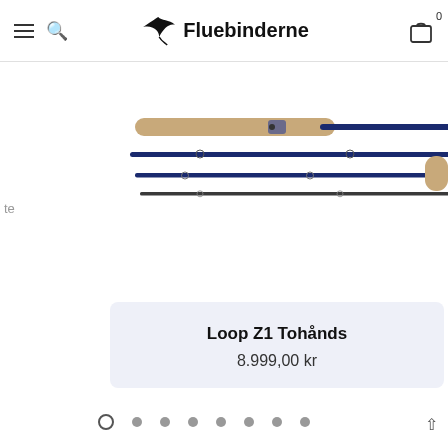Fluebinderne
[Figure (photo): Fly fishing rod disassembled into multiple sections laid out horizontally, showing blue rod sections and cork handle, on white background]
Loop Z1 Tohånds
8.999,00 kr